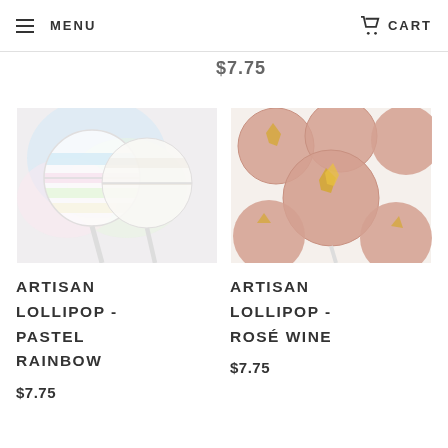MENU   CART
$7.75
[Figure (photo): Two pastel rainbow-striped round lollipops against a pastel background]
ARTISAN LOLLIPOP - PASTEL RAINBOW
$7.75
[Figure (photo): Multiple rose gold / champagne colored round lollipops with gold leaf flakes on a white background]
ARTISAN LOLLIPOP - ROSÉ WINE
$7.75